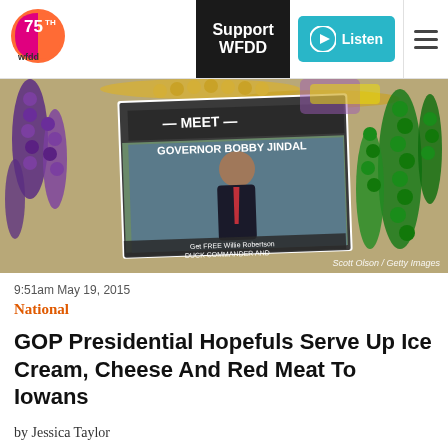WFDD 75th | Support WFDD | Listen
[Figure (photo): Photograph of Mardi Gras beads surrounding a campaign flyer reading 'Meet Governor Bobby Jindal' with a photo of the governor and text about a Duck Commander promotion. Photo credit: Scott Olson / Getty Images]
9:51am May 19, 2015
National
GOP Presidential Hopefuls Serve Up Ice Cream, Cheese And Red Meat To Iowans
by Jessica Taylor